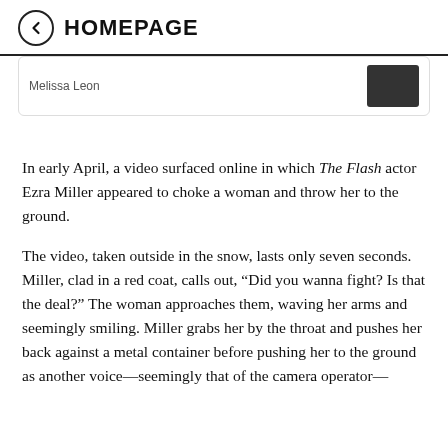HOMEPAGE
Melissa Leon
In early April, a video surfaced online in which The Flash actor Ezra Miller appeared to choke a woman and throw her to the ground.
The video, taken outside in the snow, lasts only seven seconds. Miller, clad in a red coat, calls out, “Did you wanna fight? Is that the deal?” The woman approaches them, waving her arms and seemingly smiling. Miller grabs her by the throat and pushes her back against a metal container before pushing her to the ground as another voice—seemingly that of the camera operator—